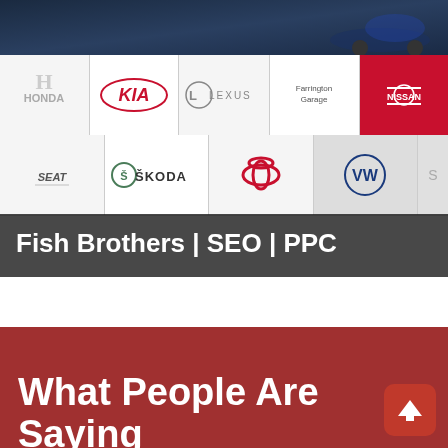[Figure (screenshot): Car dealership website screenshot showing automotive brand logos (Honda, KIA, Lexus, Farrington Garage, Nissan, SEAT, Skoda, Toyota, VW) with a dark banner at top and overlay text 'Fish Brothers | SEO | PPC']
Fish Brothers | SEO | PPC
What People Are Saying